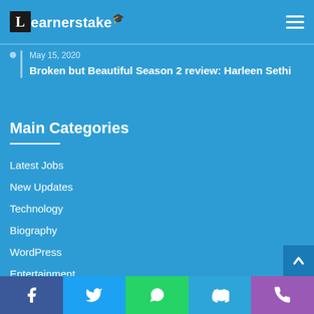Learnerstake
May 15, 2020
Broken but Beautiful Season 2 review: Harleen Sethi
Main Categories
Latest Jobs
New Updates
Technology
Biography
WordPress
Entertainment